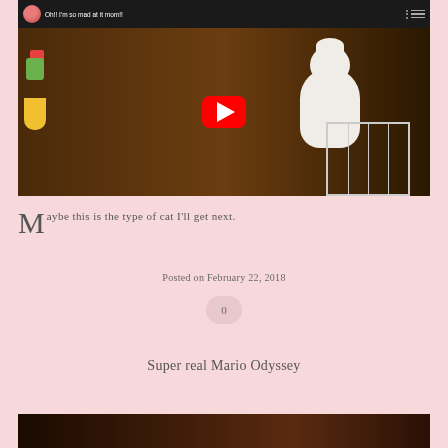[Figure (screenshot): YouTube video embed showing a cockatoo/parrot bird with title 'Oh!! I'm so mad at it mom!!' and a red play button in the center]
Maybe this is the type of cat I'll get next.
Posted on February 22, 2018
0
Super real Mario Odyssey
[Figure (photo): Bottom edge of next blog post image, dark toned photo]